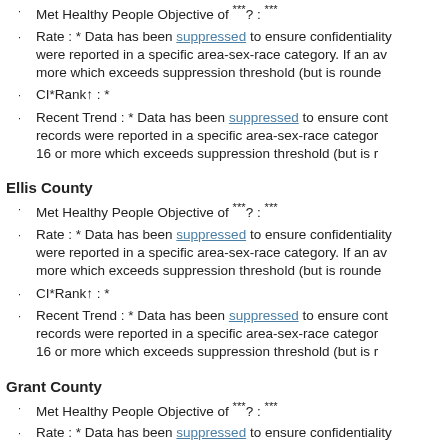Met Healthy People Objective of ***? : ***
Rate : * Data has been suppressed to ensure confidentiality were reported in a specific area-sex-race category. If an av more which exceeds suppression threshold (but is rounde
CI*Rank↑ : *
Recent Trend : * Data has been suppressed to ensure cont records were reported in a specific area-sex-race categor 16 or more which exceeds suppression threshold (but is r
Ellis County
Met Healthy People Objective of ***? : ***
Rate : * Data has been suppressed to ensure confidentiality were reported in a specific area-sex-race category. If an av more which exceeds suppression threshold (but is rounde
CI*Rank↑ : *
Recent Trend : * Data has been suppressed to ensure cont records were reported in a specific area-sex-race categor 16 or more which exceeds suppression threshold (but is r
Grant County
Met Healthy People Objective of ***? : ***
Rate : * Data has been suppressed to ensure confidentiality